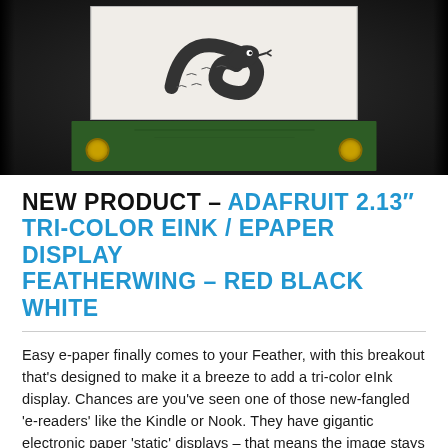[Figure (photo): Close-up photo of a PCB e-ink display board on a dark background. The display shows a snake/python illustration on white e-paper. The green PCB has two gold/yellow mounting screws at the bottom corners.]
NEW PRODUCT – ADAFRUIT 2.13" TRI-COLOR EINK / EPAPER DISPLAY FEATHERWING – RED BLACK WHITE
Easy e-paper finally comes to your Feather, with this breakout that's designed to make it a breeze to add a tri-color eInk display. Chances are you've seen one of those new-fangled 'e-readers' like the Kindle or Nook. They have gigantic electronic paper 'static' displays – that means the image stays on the display even when power is completely disconnected. The image is also high contrast and